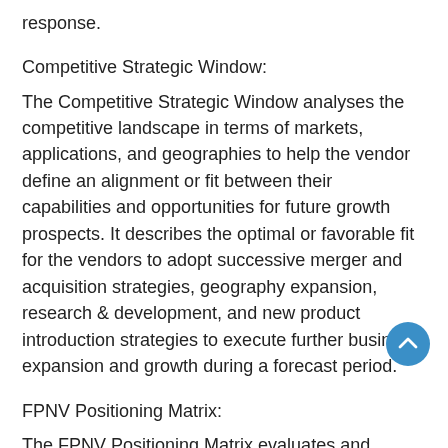response.
Competitive Strategic Window:
The Competitive Strategic Window analyses the competitive landscape in terms of markets, applications, and geographies to help the vendor define an alignment or fit between their capabilities and opportunities for future growth prospects. It describes the optimal or favorable fit for the vendors to adopt successive merger and acquisition strategies, geography expansion, research & development, and new product introduction strategies to execute further business expansion and growth during a forecast period.
FPNV Positioning Matrix:
The FPNV Positioning Matrix evaluates and categorizes the vendors in the Vaccine Storage Equipment Market based on Business Strategy (Business Growth, Industry Coverage, Financial Viability, and Channel Support) and Product Satisfaction (Value for Money, Ease of Use, Product Features, and Customer Support) that aids businesses in better decision